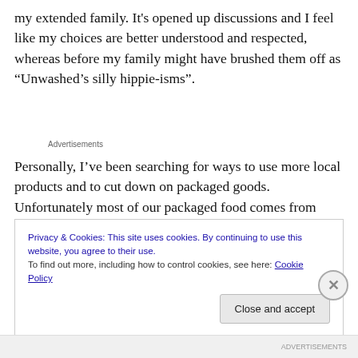my extended family. It's opened up discussions and I feel like my choices are better understood and respected, whereas before my family might have brushed them off as “Unwashed’s silly hippie-isms”.
Advertisements
Personally, I’ve been searching for ways to use more local products and to cut down on packaged goods. Unfortunately most of our packaged food comes from
Privacy & Cookies: This site uses cookies. By continuing to use this website, you agree to their use.
To find out more, including how to control cookies, see here: Cookie Policy
Close and accept
ADVERTISEMENTS